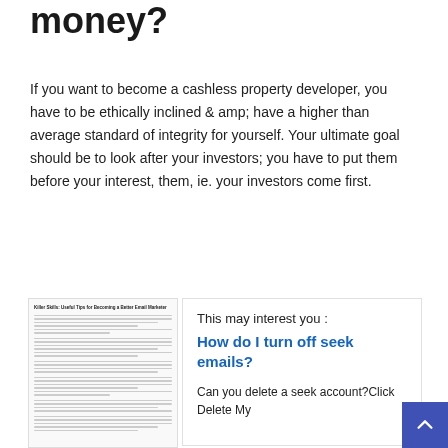money?
If you want to become a cashless property developer, you have to be ethically inclined & amp; have a higher than average standard of integrity for yourself. Your ultimate goal should be to look after your investors; you have to put them before your interest, them, ie. your investors come first.
[Figure (screenshot): Thumbnail screenshot of an article page with text content about becoming a better email marketer or similar topic.]
This may interest you :
How do I turn off seek emails?
Can you delete a seek account?Click Delete My